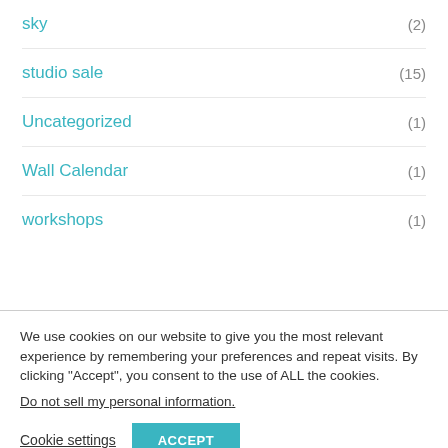sky (2)
studio sale (15)
Uncategorized (1)
Wall Calendar (1)
workshops (1)
Filter by Price
[Figure (other): Price range slider with two handles, teal colored track and circular endpoints at both ends]
We use cookies on our website to give you the most relevant experience by remembering your preferences and repeat visits. By clicking “Accept”, you consent to the use of ALL the cookies.
Do not sell my personal information.
Cookie settings   ACCEPT